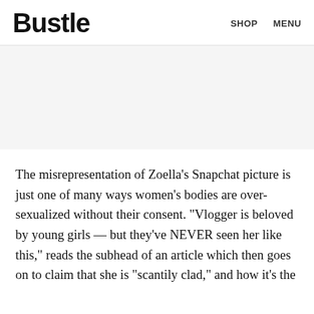Bustle   SHOP   MENU
[Figure (other): Gray advertisement banner placeholder area]
The misrepresentation of Zoella's Snapchat picture is just one of many ways women's bodies are over-sexualized without their consent. "Vlogger is beloved by young girls — but they've NEVER seen her like this," reads the subhead of an article which then goes on to claim that she is "scantily clad," and how it's the